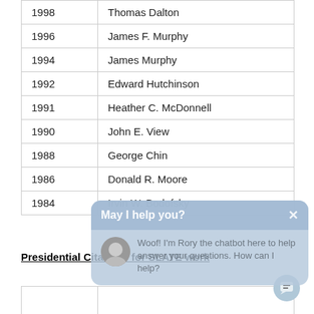| Year | Name |
| --- | --- |
| 1998 | Thomas Dalton |
| 1996 | James F. Murphy |
| 1994 | James Murphy |
| 1992 | Edward Hutchinson |
| 1991 | Heather C. McDonnell |
| 1990 | John E. View |
| 1988 | George Chin |
| 1986 | Donald R. Moore |
| 1984 | Irvin W. Bodofsky |
Presidential Citations for SLATE work
|  |  |